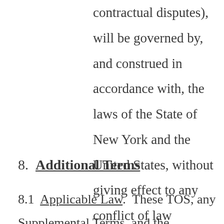contractual disputes), will be governed by, and construed in accordance with, the laws of the State of New York and the United States, without giving effect to any conflict of law principles.
8.  Additional Terms
8.1  Applicable Law.  These TOS, any Supplemental Terms, and the